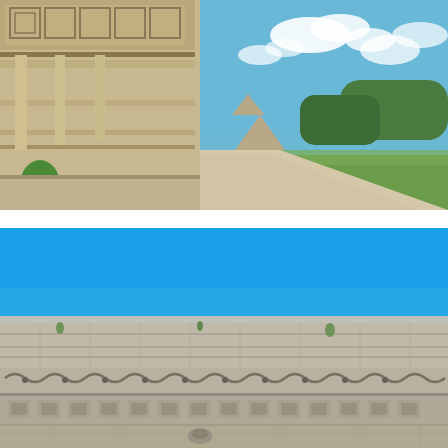[Figure (photo): Photograph of ancient Mayan ruins (likely Uxmal, Mexico). Shows the long curved stone facade of a major building with ornate geometric carvings along the upper frieze. The foreground has a wide stone pathway and a low stone wall/platform. Green tropical vegetation grows around the base. In the background, another stepped pyramid structure is visible on a green lawn under a bright blue sky with white cumulus clouds.]
[Figure (photo): Photograph of an ancient Mayan stone structure wall (likely Uxmal, Mexico). The upper half shows a bright solid blue sky. The lower half shows a long horizontal stone wall facade with carved decorative friezes featuring repeating serpentine/scroll motifs and small carved face masks or glyphs. The stonework is light gray/beige limestone with some green vegetation growing in crevices. The photo is taken from a low angle looking straight at the wall.]